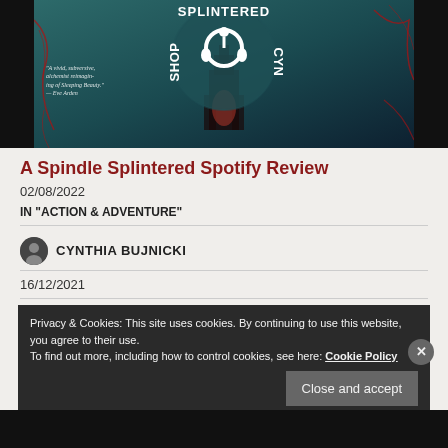[Figure (illustration): Book cover image for 'A Spindle Splintered' overlaid with a Spotify podcast logo circle. Text around the circle reads 'SPLINTERED' and author name 'CYN'. Teal/dark background with red vein patterns and a dark tower silhouette. Subtitle text reads 'A vivid, subversive, alchemist reimagining of Sleeping Beauty. — Eve Arden']
A Spindle Splintered Spotify Review
02/08/2022
IN "ACTION & ADVENTURE"
CYNTHIA BUJNICKI
16/12/2021
# ADVENTURE, # AYANA GRAY, # BEASTS OF PREY, # BOOK
Privacy & Cookies: This site uses cookies. By continuing to use this website, you agree to their use. To find out more, including how to control cookies, see here: Cookie Policy
Close and accept